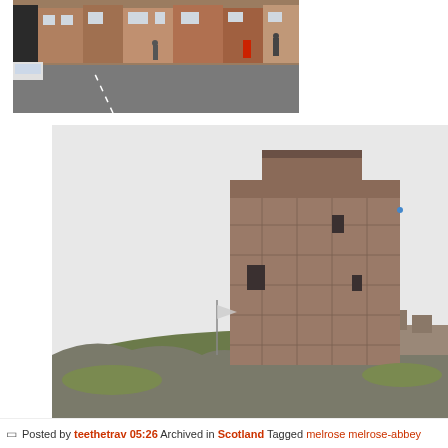[Figure (photo): Street scene with brick buildings, parked cars, pedestrians, and a red pillar box on a town high street, overcast day.]
[Figure (photo): A large square medieval stone tower/castle ruin on a rocky hill with grass, under an overcast white sky. A flag on a pole is visible to the left.]
Posted by teethetrav 05:26 Archived in Scotland Tagged melrose melrose-abbey